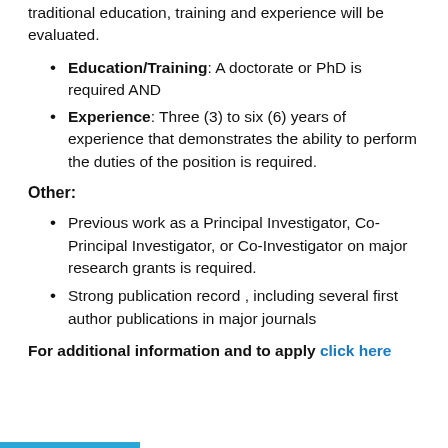traditional education, training and experience will be evaluated.
Education/Training: A doctorate or PhD is required AND
Experience: Three (3) to six (6) years of experience that demonstrates the ability to perform the duties of the position is required.
Other:
Previous work as a Principal Investigator, Co-Principal Investigator, or Co-Investigator on major research grants is required.
Strong publication record , including several first author publications in major journals
For additional information and to apply click here